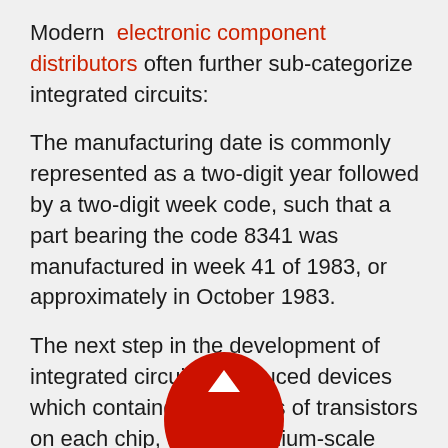Modern electronic component distributors often further sub-categorize integrated circuits:
The manufacturing date is commonly represented as a two-digit year followed by a two-digit week code, such that a part bearing the code 8341 was manufactured in week 41 of 1983, or approximately in October 1983.
The next step in the development of integrated circuits introduced devices which contained hundreds of transistors on each chip, called "medium-scale integration" (MSI).
Integrated circuits such as 1K-bit RAMs, calculator chips, and the first microprocessors, that began to be manufactured in moderate quantities in the early 1970s, had under 4,000 transistors. True LSI circuits, approaching 10,000 transistors, began to be produced around 1974, for computer main memories and second-generation